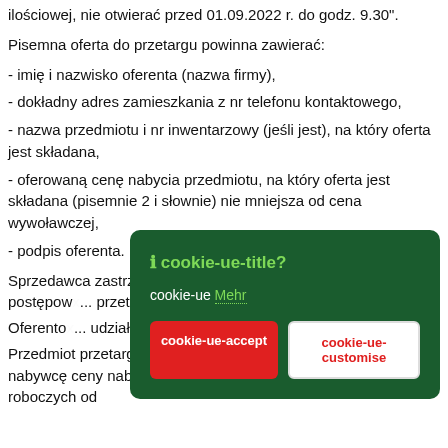ilościowej, nie otwierać przed 01.09.2022 r. do godz. 9.30".
Pisemna oferta do przetargu powinna zawierać:
- imię i nazwisko oferenta (nazwa firmy),
- dokładny adres zamieszkania z nr telefonu kontaktowego,
- nazwa przedmiotu i nr inwentarzowy (jeśli jest), na który oferta jest składana,
- oferowaną cenę nabycia przedmiotu, na który oferta jest składana (pisemnie 2 i słownie) nie mniejsza od cena wywoławczej,
- podpis oferenta.
Sprzedawca zastrzega sobie prawo do... uczestnic... przeprow... postępow... przetargu... rezultatu...
Oferento... udział w postęp...
Przedmiot przetargu zostanie wydany po zapłaceniu przez nabywcę ceny nabycia w terminie nie dłuższym jak 5 dni roboczych od
[Figure (screenshot): Cookie consent modal dialog with dark green background, showing title '🛈 cookie-ue-title?', text 'cookie-ue Mehr', a red 'cookie-ue-accept' button and a white 'cookie-ue-customise' button.]